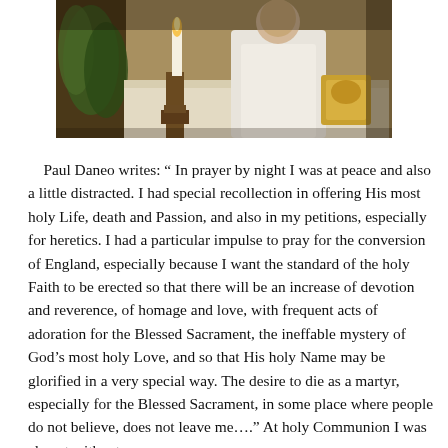[Figure (photo): Photograph of a religious setting showing a priest or clergy in white vestments, with a large lit candle on a candlestick, green plants, and liturgical items on an altar.]
Paul Daneo writes: “ In prayer by night I was at peace and also a little distracted. I had special recollection in offering His most holy Life, death and Passion, and also in my petitions, especially for heretics. I had a particular impulse to pray for the conversion of England, especially because I want the standard of the holy Faith to be erected so that there will be an increase of devotion and reverence, of homage and love, with frequent acts of adoration for the Blessed Sacrament, the ineffable mystery of God’s most holy Love, and so that His holy Name may be glorified in a very special way. The desire to die as a martyr, especially for the Blessed Sacrament, in some place where people do not believe, does not leave me….” At holy Communion I was almost without